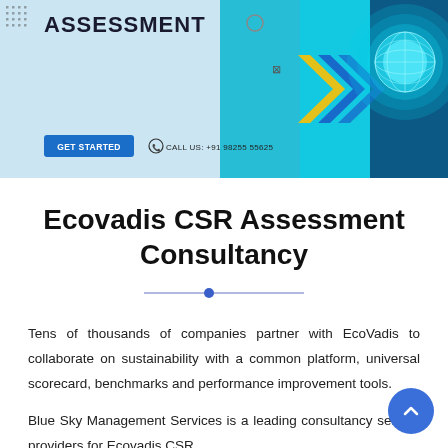[Figure (screenshot): Website banner with 'ASSESSMENT' heading, GET STARTED button, phone number CALL US: +91 98255 55625, blue chevron arrows, and a glowing globe on a teal/blue tech background]
Ecovadis CSR Assessment Consultancy
Tens of thousands of companies partner with EcoVadis to collaborate on sustainability with a common platform, universal scorecard, benchmarks and performance improvement tools.
Blue Sky Management Services is a leading consultancy service providers for Ecovadis CSR